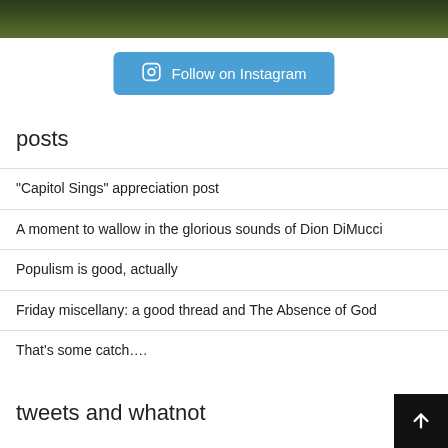[Figure (photo): A strip of green grass/lawn at the top of the page, partially cropped]
Follow on Instagram
posts
“Capitol Sings” appreciation post
A moment to wallow in the glorious sounds of Dion DiMucci
Populism is good, actually
Friday miscellany: a good thread and The Absence of God
That’s some catch….
tweets and whatnot